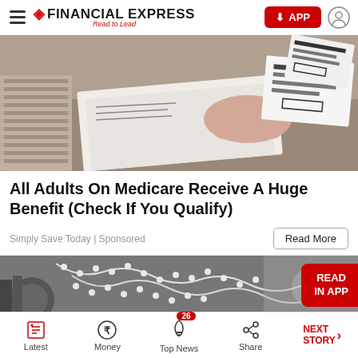FINANCIAL EXPRESS — Read to Lead
[Figure (photo): A hand holding papers/documents with printed text, alongside stacks of currency notes, on a surface with various documents]
All Adults On Medicare Receive A Huge Benefit (Check If You Qualify)
Simply Save Today | Sponsored
[Figure (photo): Black and white image showing pearl jewelry and metallic objects in close-up]
Latest | Money | Top News (26) | Share | NEXT STORY